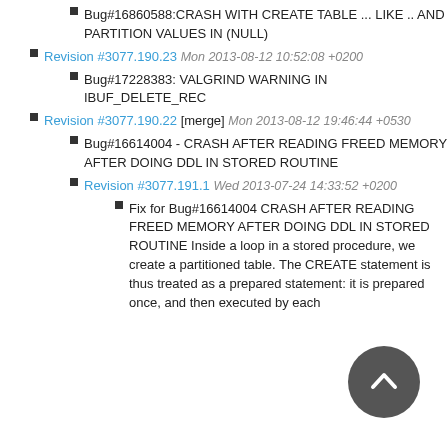Bug#16860588:CRASH WITH CREATE TABLE ... LIKE .. AND PARTITION VALUES IN (NULL)
Revision #3077.190.23 Mon 2013-08-12 10:52:08 +0200
Bug#17228383: VALGRIND WARNING IN IBUF_DELETE_REC
Revision #3077.190.22 [merge] Mon 2013-08-12 19:46:44 +0530
Bug#16614004 - CRASH AFTER READING FREED MEMORY AFTER DOING DDL IN STORED ROUTINE
Revision #3077.191.1 Wed 2013-07-24 14:33:52 +0200
Fix for Bug#16614004 CRASH AFTER READING FREED MEMORY AFTER DOING DDL IN STORED ROUTINE Inside a loop in a stored procedure, we create a partitioned table. The CREATE statement is thus treated as a prepared statement: it is prepared once, and then executed by each